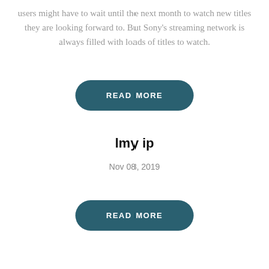users might have to wait until the next month to watch new titles they are looking forward to. But Sony's streaming network is always filled with loads of titles to watch.
READ MORE
lmy ip
Nov 08, 2019
READ MORE